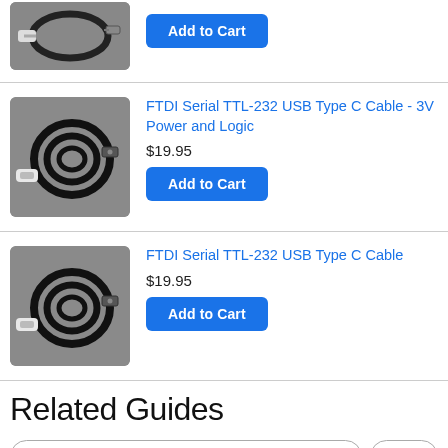[Figure (photo): Partial view of a USB cable coiled on gray background (top product row, cropped)]
Add to Cart
[Figure (photo): FTDI Serial TTL-232 USB Type C Cable coiled on gray background]
FTDI Serial TTL-232 USB Type C Cable - 3V Power and Logic
$19.95
Add to Cart
[Figure (photo): FTDI Serial TTL-232 USB Type C Cable coiled on gray background]
FTDI Serial TTL-232 USB Type C Cable
$19.95
Add to Cart
Related Guides